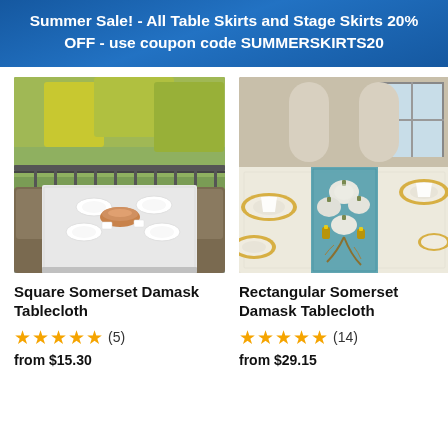Summer Sale! - All Table Skirts and Stage Skirts 20% OFF - use coupon code SUMMERSKIRTS20
[Figure (photo): Outdoor patio table set with white damask square tablecloth, plates and a centerpiece bowl, surrounded by wicker chairs with green trees in background.]
[Figure (photo): Elegant dining table set with rectangular white damask tablecloth, teal blue table runner, white pumpkin decorations, gold-rimmed plates and candles.]
Square Somerset Damask Tablecloth
★★★★★ (5)
from $15.30
Rectangular Somerset Damask Tablecloth
★★★★★ (14)
from $29.15